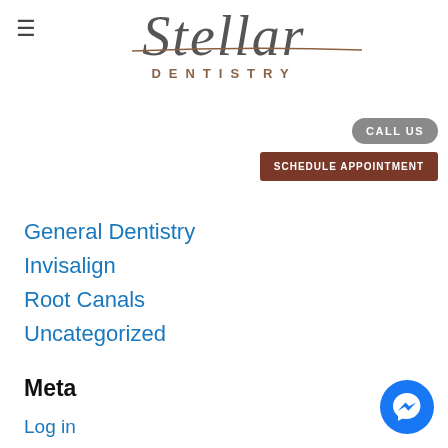[Figure (logo): Stellar Dentistry logo with italic serif 'Stellar' text and smaller spaced 'DENTISTRY' subtitle, with a decorative line through the Stellar text]
CALL US
SCHEDULE APPOINTMENT
General Dentistry
Invisalign
Root Canals
Uncategorized
Meta
Log in
Entries feed
[Figure (illustration): Facebook Messenger circular blue button icon]